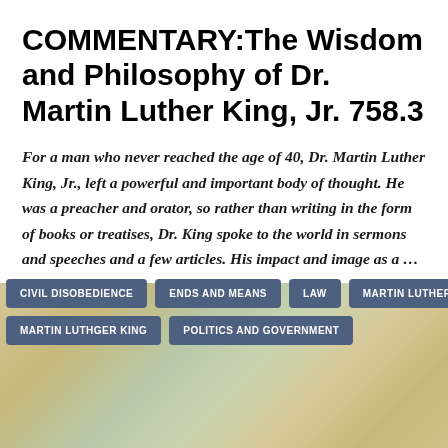COMMENTARY:The Wisdom and Philosophy of Dr. Martin Luther King, Jr. 758.3
For a man who never reached the age of 40, Dr. Martin Luther King, Jr., left a powerful and important body of thought. He was a preacher and orator, so rather than writing in the form of books or treatises, Dr. King spoke to the world in sermons and speeches and a few articles. His impact and image as a ...
CIVIL DISOBEDIENCE
ENDS AND MEANS
LAW
MARTIN LUTHER KING
MARTIN LUTHGER KING
POLITICS AND GOVERNMENT